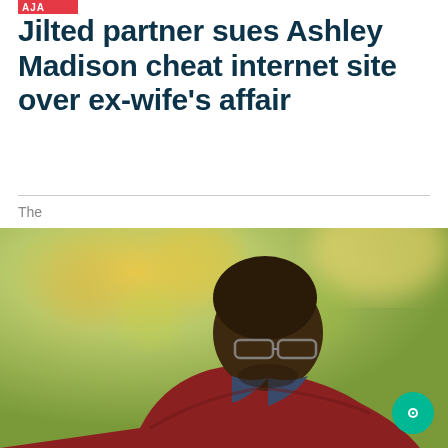AJA
Jilted partner sues Ashley Madison cheat internet site over ex-wife's affair
The
[Figure (photo): A man wearing glasses and a red/maroon sweater over a patterned collared shirt, photographed outdoors with a blurred green/yellow tree bokeh background. He appears to be looking downward or to the side.]